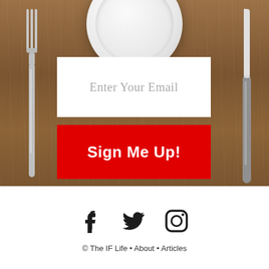[Figure (photo): Wooden table with a white plate, fork on the left and knife on the right, with an email signup form overlay]
Enter Your Email
Sign Me Up!
[Figure (other): Social media icons: Facebook, Twitter, Instagram]
© The IF Life • About • Articles